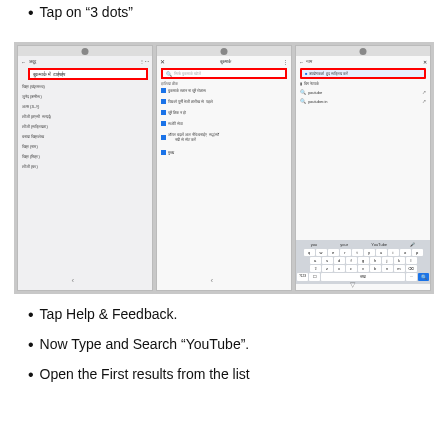Tap on “3 dots”
[Figure (screenshot): Three smartphone screenshots showing steps: first showing a menu list in Hindi, second showing a search/bookmarks screen with Hindi text and a search box highlighted in red, third showing a YouTube search being typed with keyboard visible and search bar highlighted in red.]
Tap Help & Feedback.
Now Type and Search “YouTube”.
Open the First results from the list